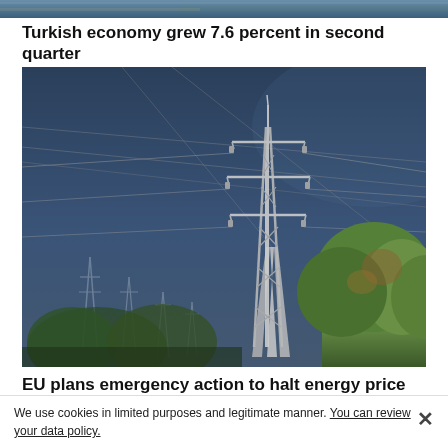[Figure (photo): Narrow horizontal strip at top of page showing partial image, appears to be a muted photo in blue/teal tones]
Turkish economy grew 7.6 percent in second quarter
[Figure (photo): Photo of a tall electricity transmission tower/pylon against a dark stormy blue sky, with green trees in the lower portion. Additional smaller pylons visible in the background to the left.]
EU plans emergency action to halt energy price rise
We use cookies in limited purposes and legitimate manner. You can review your data policy.